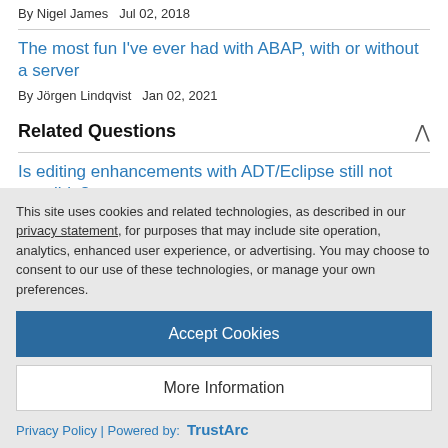By Nigel James   Jul 02, 2018
The most fun I've ever had with ABAP, with or without a server
By Jörgen Lindqvist   Jan 02, 2021
Related Questions
Is editing enhancements with ADT/Eclipse still not possible?
This site uses cookies and related technologies, as described in our privacy statement, for purposes that may include site operation, analytics, enhanced user experience, or advertising. You may choose to consent to our use of these technologies, or manage your own preferences.
Accept Cookies
More Information
Privacy Policy | Powered by: TrustArc